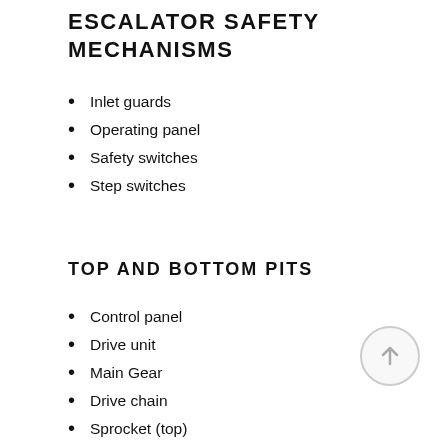ESCALATOR SAFETY MECHANISMS
Inlet guards
Operating panel
Safety switches
Step switches
TOP AND BOTTOM PITS
Control panel
Drive unit
Main Gear
Drive chain
Sprocket (top)
Safety switches
TRUSS